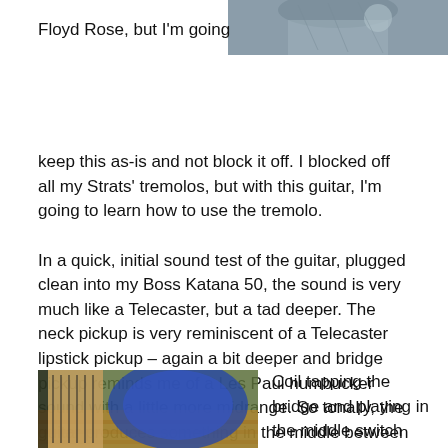[Figure (photo): Partial view of a guitar or musical instrument, top-right corner of page]
Floyd Rose, but I'm going keep this as-is and not block it off. I blocked off all my Strats' tremolos, but with this guitar, I'm going to learn how to use the tremolo.
In a quick, initial sound test of the guitar, plugged clean into my Boss Katana 50, the sound is very much like a Telecaster, but a tad deeper. The neck pickup is very reminiscent of a Telecaster lipstick pickup – again a bit deeper and bridge pickup reminds me of a Les Paul humbucker sound with a little more midrange. So tonally, the guitar produces something in the middle between a Tele and an LP.
[Figure (photo): Close-up photo of a blue guitar neck/body on a wooden surface]
Coil tapping the bridge and playing in the middle switch position, the